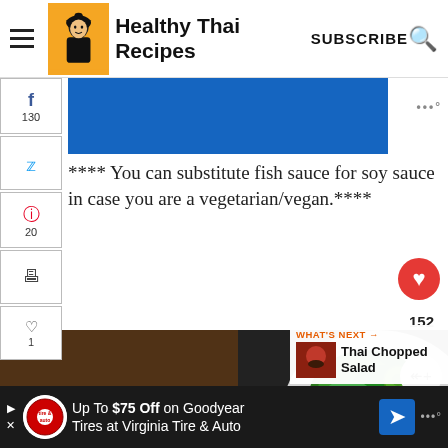Healthy Thai Recipes — SUBSCRIBE
[Figure (screenshot): Blue banner/advertisement placeholder]
**** You can substitute fish sauce for soy sauce in case you are a vegetarian/vegan.****
[Figure (photo): Bowl of Thai chopped meat dish on left, fresh green salad with cucumber on right]
WHAT'S NEXT → Thai Chopped Salad
150 SHARES
[Figure (screenshot): Advertisement: Up To $75 Off on Goodyear Tires at Virginia Tire & Auto]